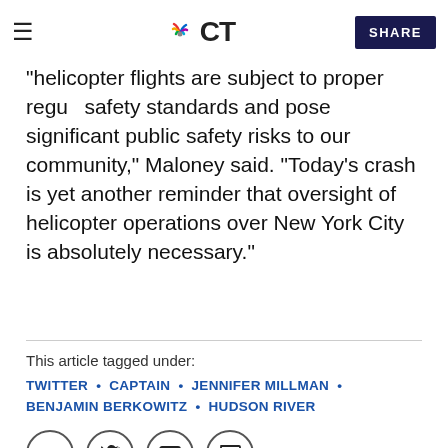NBC CT — SHARE
safety standards and pose significant public safety risks to our community," Maloney said. "Today's crash is yet another reminder that oversight of helicopter operations over New York City is absolutely necessary."
This article tagged under:
TWITTER • CAPTAIN • JENNIFER MILLMAN • BENJAMIN BERKOWITZ • HUDSON RIVER
[Figure (other): Social sharing icons: Facebook, Twitter, Email, Comment]
[Figure (other): Advertisement banner for COZI TV - 3rd Rock from the Sun]